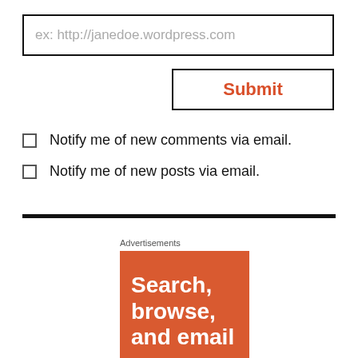ex: http://janedoe.wordpress.com
Submit
Notify me of new comments via email.
Notify me of new posts via email.
Advertisements
[Figure (infographic): Orange advertisement block with white bold text reading 'Search, browse, and email']